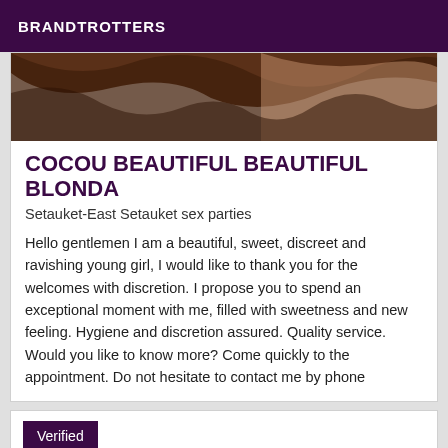BRANDTROTTERS
[Figure (photo): Close-up photo of a patterned fabric or surface with brown, white, and tan colors]
COCOU BEAUTIFUL BEAUTIFUL BLONDA
Setauket-East Setauket sex parties
Hello gentlemen I am a beautiful, sweet, discreet and ravishing young girl, I would like to thank you for the welcomes with discretion. I propose you to spend an exceptional moment with me, filled with sweetness and new feeling. Hygiene and discretion assured. Quality service. Would you like to know more? Come quickly to the appointment. Do not hesitate to contact me by phone
Verified